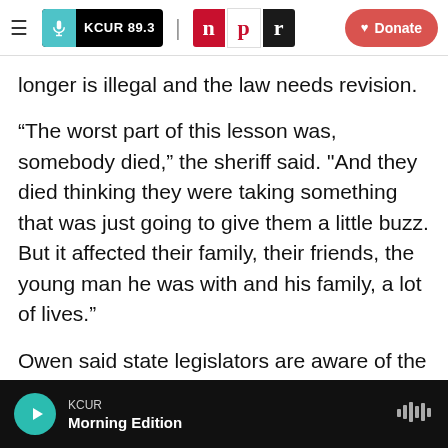KCUR 89.3 | npr | Donate
longer is illegal and the law needs revision.
“The worst part of this lesson was, somebody died,” the sheriff said. "And they died thinking they were taking something that was just going to give them a little buzz. But it affected their family, their friends, the young man he was with and his family, a lot of lives.”
Owen said state legislators are aware of the need to change definitions of synthetic drugs and he has conferred with them.
KCUR Morning Edition